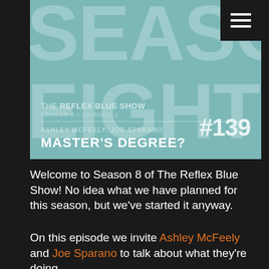[Figure (other): Podcast banner for The Reflex Blue Show Season 8, Episode 1, #139. Teal/blue-green background with large semi-transparent text reading 'SEASON EIGHT'. Bottom section shows show title, season/episode info, episode number #139, guest names Ashley McFeely and Joe Sparano, and episode title 'MASTER'S DEGREE?'. A dark hamburger menu icon is in the top right corner.]
Welcome to Season 8 of The Reflex Blue Show! No idea what we have planned for this season, but we've started it anyway.
On this episode we invite Ashley McFeely and Joe Sparano to talk about what they're doing